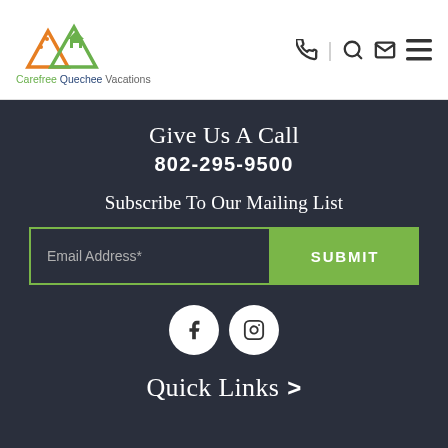[Figure (logo): Carefree Quechee Vacations logo with mountain/house icon in orange and green]
Carefree Quechee Vacations — navigation header with phone, search, email, and menu icons
Give Us A Call
802-295-9500
Subscribe To Our Mailing List
Email Address*   SUBMIT
[Figure (other): Facebook and Instagram social media icons as white circles on dark background]
Quick Links >